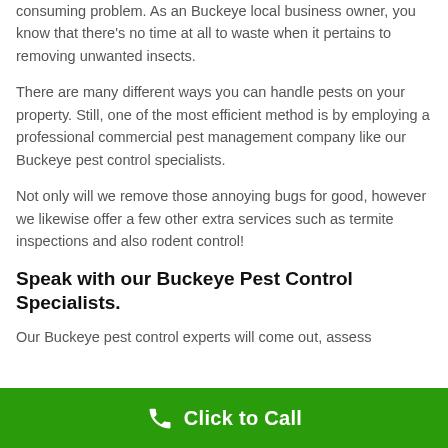consuming problem. As an Buckeye local business owner, you know that there's no time at all to waste when it pertains to removing unwanted insects.
There are many different ways you can handle pests on your property. Still, one of the most efficient method is by employing a professional commercial pest management company like our Buckeye pest control specialists.
Not only will we remove those annoying bugs for good, however we likewise offer a few other extra services such as termite inspections and also rodent control!
Speak with our Buckeye Pest Control Specialists.
Our Buckeye pest control experts will come out, assess
Click to Call